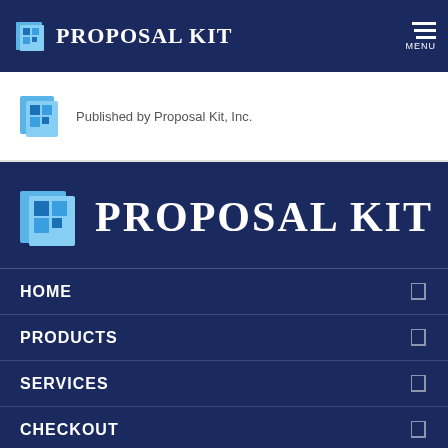[Figure (logo): Proposal Kit logo in top navigation bar with blue icon and white text on dark navy background]
[Figure (logo): Proposal Kit publisher icon with text 'Published by Proposal Kit, Inc.' on white background]
[Figure (logo): Large Proposal Kit logo centered in dark navy menu section]
HOME
PRODUCTS
SERVICES
CHECKOUT
MY PAST ORDERS